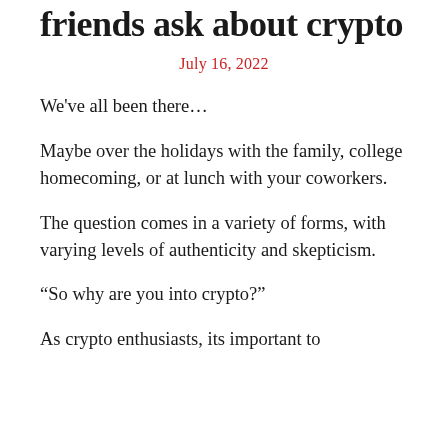friends ask about crypto
July 16, 2022
We've all been there...
Maybe over the holidays with the family, college homecoming, or at lunch with your coworkers.
The question comes in a variety of forms, with varying levels of authenticity and skepticism.
“So why are you into crypto?”
As crypto enthusiasts, its important to